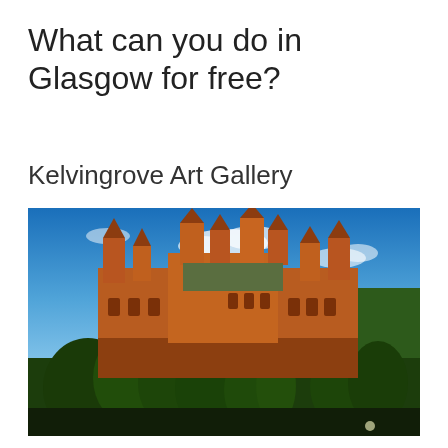What can you do in Glasgow for free?
Kelvingrove Art Gallery
[Figure (photo): Aerial/elevated exterior photograph of Kelvingrove Art Gallery, a grand red sandstone Victorian baroque building with ornate towers and spires, surrounded by green trees under a blue sky with white clouds.]